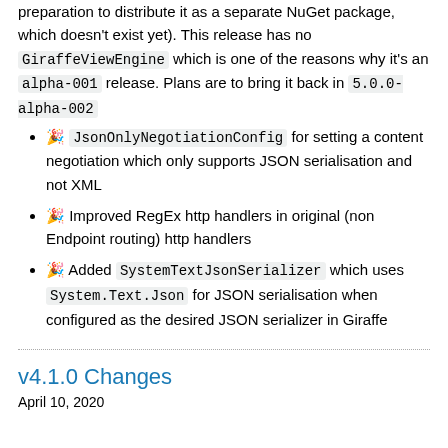preparation to distribute it as a separate NuGet package, which doesn't exist yet). This release has no GiraffeViewEngine which is one of the reasons why it's an alpha-001 release. Plans are to bring it back in 5.0.0-alpha-002
🎉 New JsonOnlyNegotiationConfig for setting a content negotiation which only supports JSON serialisation and not XML
🎉 Improved RegEx http handlers in original (non Endpoint routing) http handlers
🎉 Added SystemTextJsonSerializer which uses System.Text.Json for JSON serialisation when configured as the desired JSON serializer in Giraffe
v4.1.0 Changes
April 10, 2020